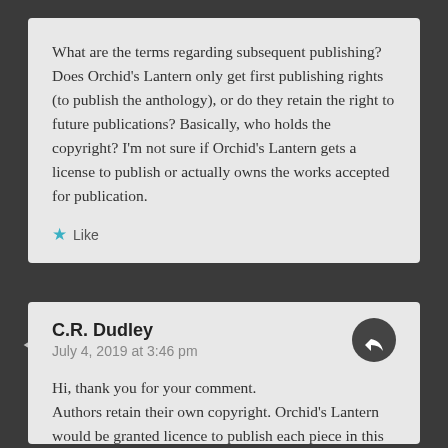What are the terms regarding subsequent publishing? Does Orchid's Lantern only get first publishing rights (to publish the anthology), or do they retain the right to future publications? Basically, who holds the copyright? I'm not sure if Orchid's Lantern gets a license to publish or actually owns the works accepted for publication.
Like
C.R. Dudley
July 4, 2019 at 3:46 pm
Hi, thank you for your comment. Authors retain their own copyright. Orchid's Lantern would be granted licence to publish each piece in this one publication only, leaving authors free to republish in other formats…